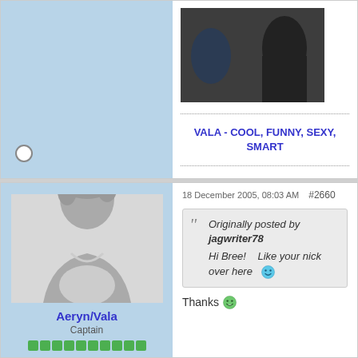[Figure (photo): Top forum post avatar area - light blue background with radio button]
[Figure (photo): Photo of a woman in black dress on a TV set]
VALA - COOL, FUNNY, SEXY, SMART
18 December 2005, 08:03 AM  #2660
[Figure (photo): Default user avatar silhouette - grey male figure]
Aeryn/Vala
Captain
Originally posted by jagwriter78
Hi Bree!    Like your nick over here
Thanks